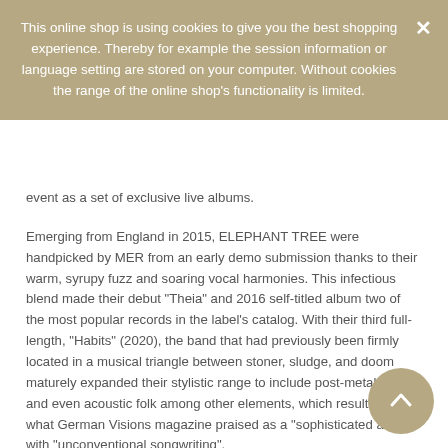This online shop is using cookies to give you the best shopping experience. Thereby for example the session information or language setting are stored on your computer. Without cookies the range of the online shop's functionality is limited.
event as a set of exclusive live albums.
Emerging from England in 2015, ELEPHANT TREE were handpicked by MER from an early demo submission thanks to their warm, syrupy fuzz and soaring vocal harmonies. This infectious blend made their debut "Theia" and 2016 self-titled album two of the most popular records in the label's catalog. With their third full-length, "Habits" (2020), the band that had previously been firmly located in a musical triangle between stoner, sludge, and doom maturely expanded their stylistic range to include post-metal groove and even acoustic folk among other elements, which resulted in what German Visions magazine praised as a "sophisticated album" with "unconventional songwriting".
"Day of Doom Live" showcases ELEPHANT TREE offering what Metal Injection describes as "gloomy